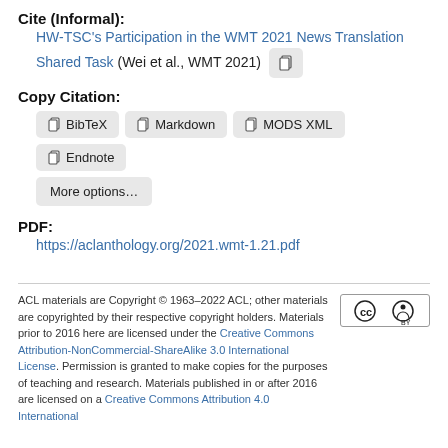Cite (Informal): HW-TSC's Participation in the WMT 2021 News Translation Shared Task (Wei et al., WMT 2021)
Copy Citation:
BibTeX | Markdown | MODS XML | Endnote | More options...
PDF:
https://aclanthology.org/2021.wmt-1.21.pdf
ACL materials are Copyright © 1963–2022 ACL; other materials are copyrighted by their respective copyright holders. Materials prior to 2016 here are licensed under the Creative Commons Attribution-NonCommercial-ShareAlike 3.0 International License. Permission is granted to make copies for the purposes of teaching and research. Materials published in or after 2016 are licensed on a Creative Commons Attribution 4.0 International